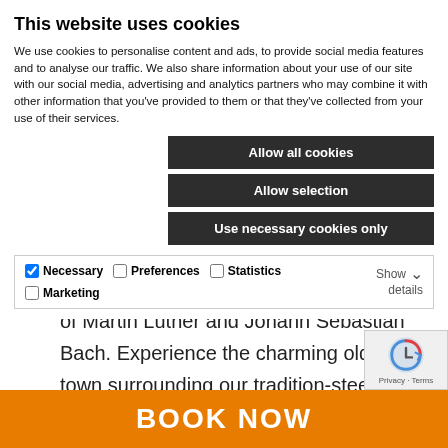This website uses cookies
We use cookies to personalise content and ads, to provide social media features and to analyse our traffic. We also share information about your use of our site with our social media, advertising and analytics partners who may combine it with other information that you've provided to them or that they've collected from your use of their services.
Allow all cookies
Allow selection
Use necessary cookies only
| Necessary | Preferences | Statistics | Marketing | Show details |
| --- | --- | --- | --- | --- |
of Martin Luther and Johann Sebastian Bach. Experience the charming old town surrounding our tradition-steeped hotel, enjoy culinary highlights in the attached gourmet restaurant and
BOOK NOW